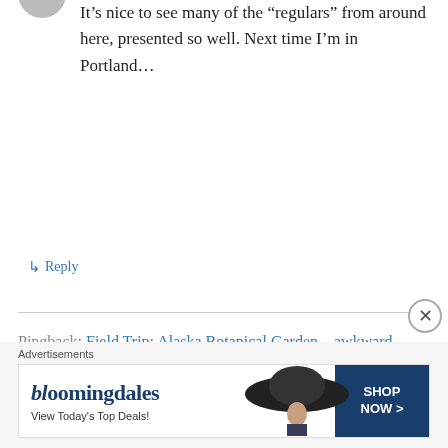It’s nice to see many of the “regulars” from around here, presented so well. Next time I’m in Portland…
↳ Reply
Pingback: Field Trip: Alaska Botanical Garden – awkward botany
Pingback: 2017: Year in Review – awkward botany
Pingback: Field Trip: UBC Botanical Garden and
[Figure (other): Bloomingdale's advertisement banner with hat image and 'SHOP NOW >' button text, View Today's Top Deals!]